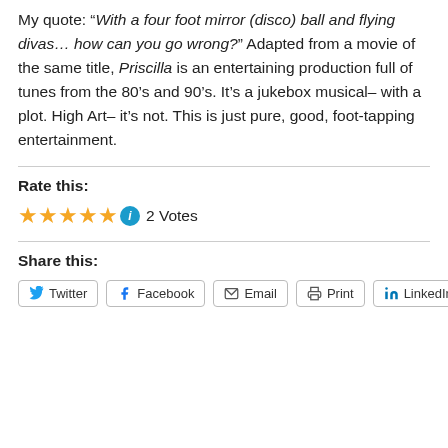My quote: “With a four foot mirror (disco) ball and flying divas… how can you go wrong?” Adapted from a movie of the same title, Priscilla is an entertaining production full of tunes from the 80’s and 90’s. It’s a jukebox musical– with a plot. High Art– it’s not. This is just pure, good, foot-tapping entertainment.
Rate this:
[Figure (other): Five gold stars rating with info icon and 2 Votes label]
Share this:
[Figure (other): Share buttons: Twitter, Facebook, Email, Print, LinkedIn]